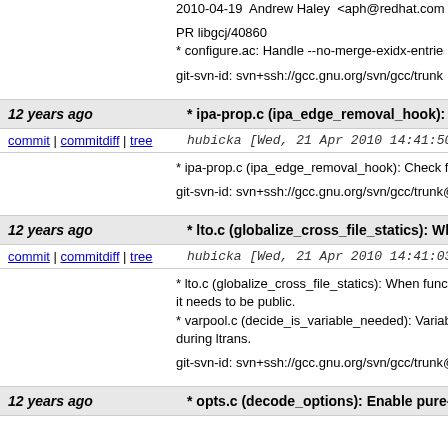2010-04-19  Andrew Haley  <aph@redhat.com>

PR libgcj/40860
* configure.ac: Handle --no-merge-exidx-entries.

git-svn-id: svn+ssh://gcc.gnu.org/svn/gcc/trunk@1
12 years ago
* ipa-prop.c (ipa_edge_removal_hook): Check f
commit | commitdiff | tree
hubicka [Wed, 21 Apr 2010 14:41:50 +0000
* ipa-prop.c (ipa_edge_removal_hook): Check for

git-svn-id: svn+ssh://gcc.gnu.org/svn/gcc/trunk@1
12 years ago
* lto.c (globalize_cross_file_statics): When func
commit | commitdiff | tree
hubicka [Wed, 21 Apr 2010 14:41:03 +0000
* lto.c (globalize_cross_file_statics): When functio
it needs to be public.
* varpool.c (decide_is_variable_needed): Variable
during ltrans.

git-svn-id: svn+ssh://gcc.gnu.org/svn/gcc/trunk@1
12 years ago
* opts.c (decode_options): Enable pure-const p